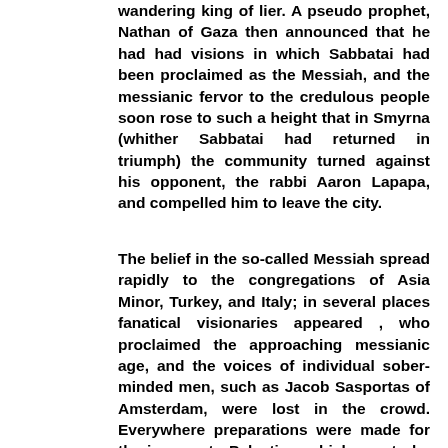wandering king of lier. A pseudo prophet, Nathan of Gaza then announced that he had had visions in which Sabbatai had been proclaimed as the Messiah, and the messianic fervor to the credulous people soon rose to such a height that in Smyrna (whither Sabbatai had returned in triumph) the community turned against his opponent, the rabbi Aaron Lapapa, and compelled him to leave the city.
The belief in the so-called Messiah spread rapidly to the congregations of Asia Minor, Turkey, and Italy; in several places fanatical visionaries appeared , who proclaimed the approaching messianic age, and the voices of individual sober-minded men, such as Jacob Sasportas of Amsterdam, were lost in the crowd. Everywhere preparations were made for the journey to Palestine, which was to be once more in possession of the Jews.